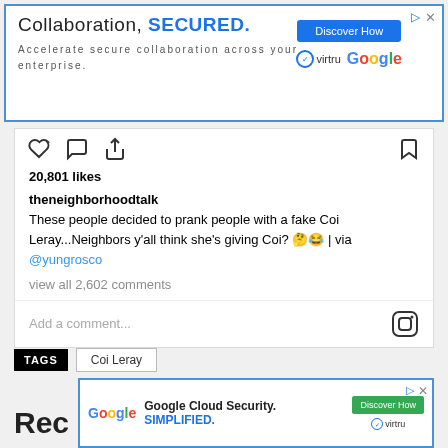[Figure (screenshot): Top advertisement banner: 'Collaboration, SECURED.' with Virtru and Google logos and Discover How button, blue border]
20,801 likes
theneighborhoodtalk These people decided to prank people with a fake Coi Leray...Neighbors y'all think she's giving Coi? 🤔😂 | via @yungrosco
view all 2,602 comments
Add a comment...
TAGS  Coi Leray
[Figure (screenshot): Bottom advertisement: Google Cloud Security. SIMPLIFIED. with Discover How button and virtru logo, blue border]